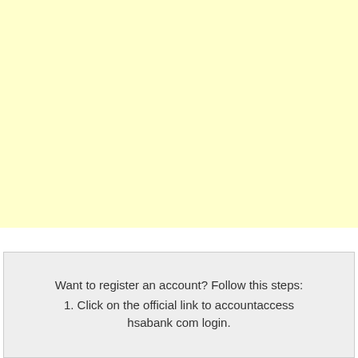[Figure (other): Large light yellow blank area filling the top portion of the page]
Want to register an account? Follow this steps:
1. Click on the official link to accountaccess hsabank com login.